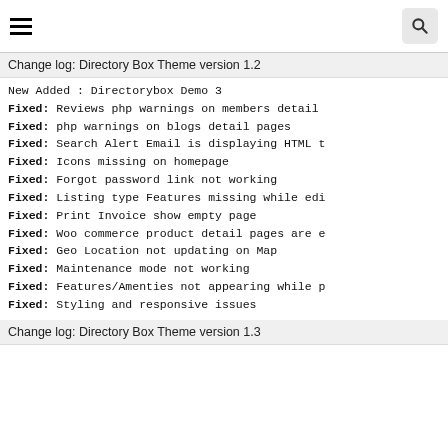≡  🔍
Change log: Directory Box Theme version 1.2
New Added : Directorybox Demo 3
Fixed: Reviews php warnings on members detail
Fixed: php warnings on blogs detail pages
Fixed: Search Alert Email is displaying HTML t
Fixed: Icons missing on homepage
Fixed: Forgot password link not working
Fixed: Listing type Features missing while edi
Fixed: Print Invoice show empty page
Fixed: Woo commerce product detail pages are e
Fixed: Geo Location not updating on Map
Fixed: Maintenance mode not working
Fixed: Features/Amenties not appearing while p
Fixed: Styling and responsive issues
Change log: Directory Box Theme version 1.3